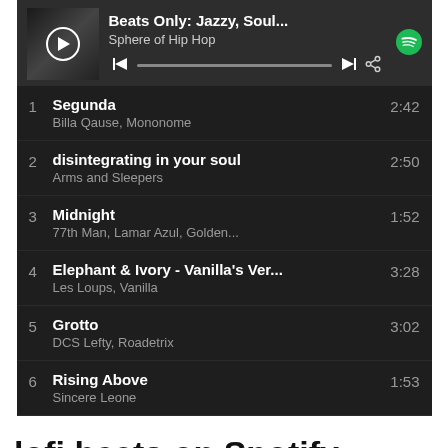[Figure (screenshot): Spotify music player widget showing 'Beats Only: Jazzy, Soul...' playlist by Sphere of Hip Hop with play controls and progress bar]
1  Segunda  2:42
Billa Qause, Mononome
2  disintegrating in your soul  2:50
Arms and Sleepers
3  Midnight  1:52
77th Man, Lamar Azul, Golden...
4  Elephant & Ivory - Vanilla's Ver...  3:28
Les Loups, Vanilla
5  Grotto  3:02
DCS Lefty, Roadetrix
6  Rising Above  1:53
Sincere Leone
lofi beats on Spotify